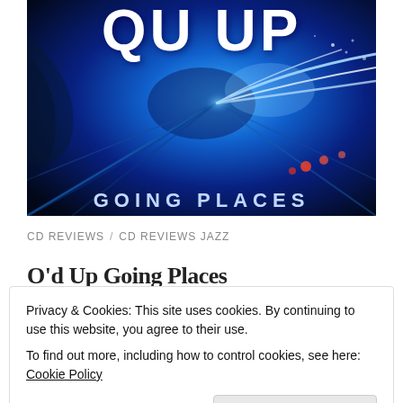[Figure (illustration): Album cover art for 'QU UP – Going Places'. Dark navy and electric blue tunnel/road scene with bright light streaks and the album title 'QU UP' in large white bold letters at top, and 'GOING PLACES' in blue letters partially visible at the bottom.]
CD REVIEWS / CD REVIEWS JAZZ
O'd Up Going Places
Privacy & Cookies: This site uses cookies. By continuing to use this website, you agree to their use.
To find out more, including how to control cookies, see here: Cookie Policy
Close and accept